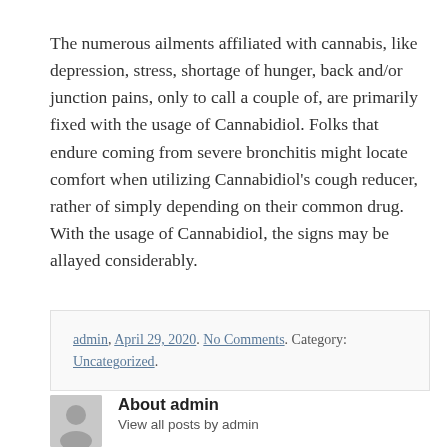The numerous ailments affiliated with cannabis, like depression, stress, shortage of hunger, back and/or junction pains, only to call a couple of, are primarily fixed with the usage of Cannabidiol. Folks that endure coming from severe bronchitis might locate comfort when utilizing Cannabidiol's cough reducer, rather of simply depending on their common drug. With the usage of Cannabidiol, the signs may be allayed considerably.
admin, April 29, 2020. No Comments. Category: Uncategorized.
About admin
View all posts by admin